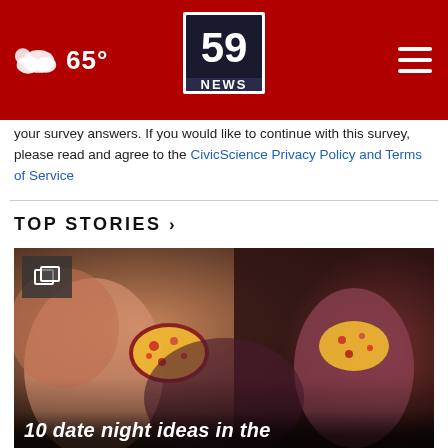59 NEWS | 65°
your survey answers. If you would like to continue with this survey, please read and agree to the CivicScience Privacy Policy and Terms of Service
TOP STORIES ›
[Figure (photo): Two people eating colorful sprinkle-topped donuts, close-up shot]
10 date night ideas in the